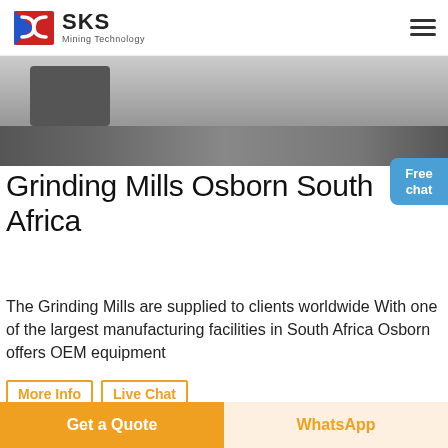SKS Mining Technology
[Figure (photo): Industrial machinery / manufacturing facility interior photo showing large equipment on a factory floor]
Grinding Mills Osborn South Africa
The Grinding Mills are supplied to clients worldwide With one of the largest manufacturing facilities in South Africa Osborn offers OEM equipment
More Info
Live Chat
[Figure (photo): Bottom strip showing interior of a manufacturing or warehouse facility with signage in Chinese characters]
Get a Quote
WhatsApp